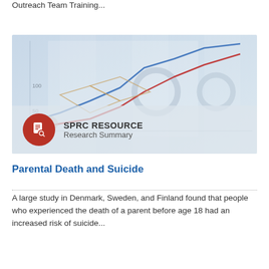Outreach Team Training...
[Figure (photo): Background image of a line chart with upward trending lines in blue and red, overlaid with a semi-transparent banner showing SPRC RESOURCE Research Summary with a red circular document icon.]
Parental Death and Suicide
A large study in Denmark, Sweden, and Finland found that people who experienced the death of a parent before age 18 had an increased risk of suicide...